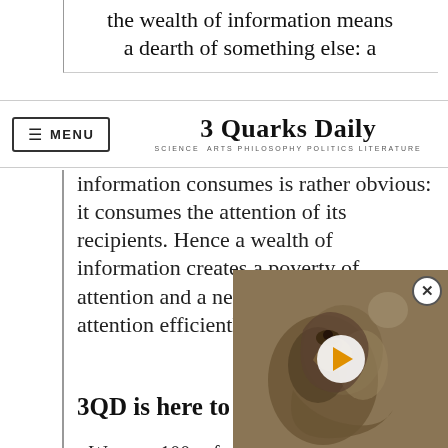the wealth of information means a dearth of something else: a
MENU | 3 Quarks Daily — SCIENCE ARTS PHILOSOPHY POLITICS LITERATURE
information consumes is rather obvious: it consumes the attention of its recipients. Hence a wealth of information creates a poverty of attention and a need to allocate that attention efficiently.”
3QD is here to help, Reader!
We scan 100s of online sources to bring you the the web daily.
Our Monday Magazine you original writing and for thought.
Just look on our Abou
[Figure (photo): Video player overlay showing a close-up photo of a bird or animal (appears to be a nestling/chick) with a play button overlay and close button.]